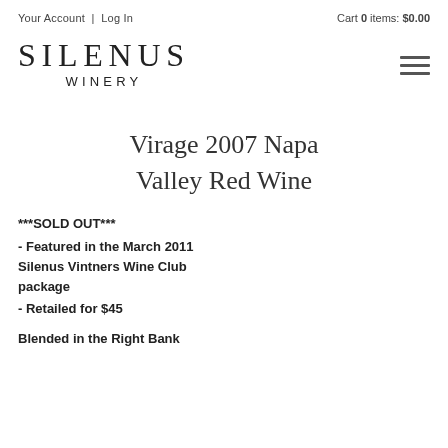Your Account  |  Log In    Cart 0 items: $0.00
[Figure (logo): Silenus Winery logo — SILENUS in large serif text above WINERY in spaced sans-serif]
[Figure (other): Hamburger menu icon (three horizontal lines)]
Virage 2007 Napa Valley Red Wine
***SOLD OUT***
- Featured in the March 2011 Silenus Vintners Wine Club package
- Retailed for $45
Blended in the Right Bank